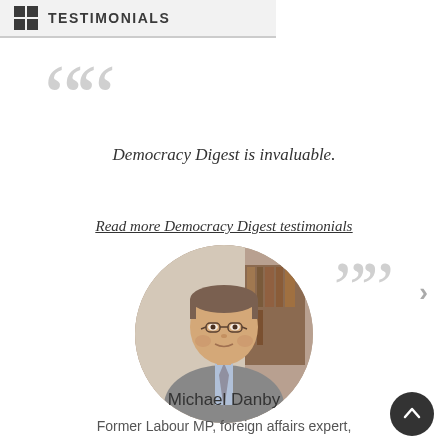TESTIMONIALS
““
Democracy Digest is invaluable.
Read more Democracy Digest testimonials
[Figure (photo): Circular portrait photo of Michael Danby, a middle-aged man with glasses wearing a grey suit and tie]
””
Michael Danby
Former Labour MP, foreign affairs expert,